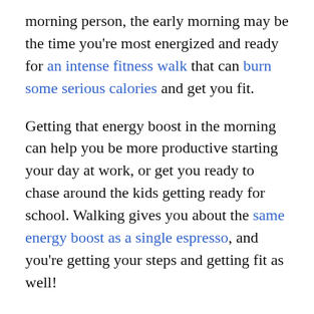morning person, the early morning may be the time you're most energized and ready for an intense fitness walk that can burn some serious calories and get you fit.
Getting that energy boost in the morning can help you be more productive starting your day at work, or get you ready to chase around the kids getting ready for school. Walking gives you about the same energy boost as a single espresso, and you're getting your steps and getting fit as well!
Create better sleep habits
A side effect of starting a morning walking habit is that you (hopefully) get to sleep earlier and get better sleep overall. Sleep is key for your overall...